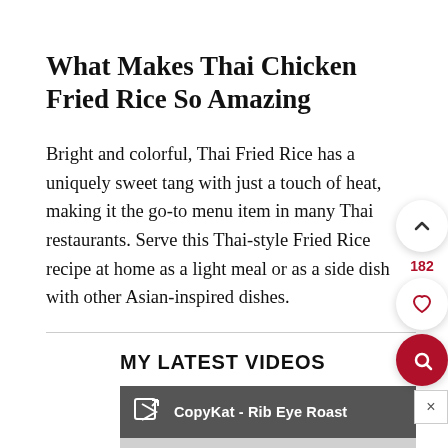What Makes Thai Chicken Fried Rice So Amazing
Bright and colorful, Thai Fried Rice has a uniquely sweet tang with just a touch of heat, making it the go-to menu item in many Thai restaurants. Serve this Thai-style Fried Rice recipe at home as a light meal or as a side dish with other Asian-inspired dishes.
MY LATEST VIDEOS
[Figure (screenshot): Video player bar showing 'CopyKat - Rib Eye Roast' title with external link icon, and a grey video thumbnail area below with a play button arrow]